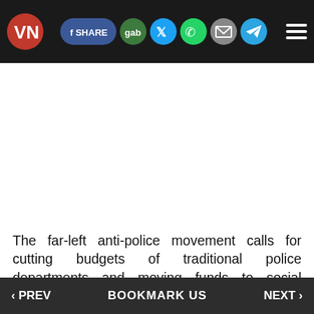VN [logo] SHARE gab [Twitter] [WhatsApp] [Email] [Telegram] [Menu]
[Figure (other): Large white blank advertisement/image area]
The far-left anti-police movement calls for cutting budgets of traditional police departments and moving funds to social programs and alternative means of law enforcement.
‹ PREV    BOOKMARK US    NEXT ›